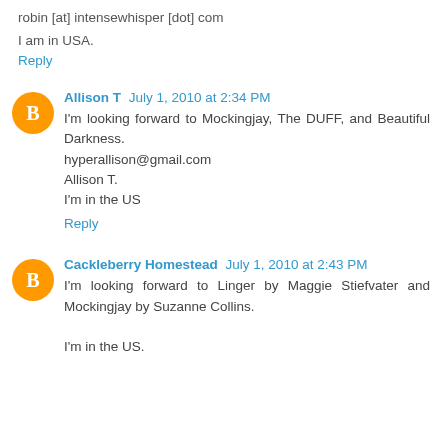robin [at] intensewhisper [dot] com
I am in USA.
Reply
Allison T  July 1, 2010 at 2:34 PM
I'm looking forward to Mockingjay, The DUFF, and Beautiful Darkness.
hyperallison@gmail.com
Allison T.
I'm in the US
Reply
Cackleberry Homestead  July 1, 2010 at 2:43 PM
I'm looking forward to Linger by Maggie Stiefvater and Mockingjay by Suzanne Collins.

I'm in the US.